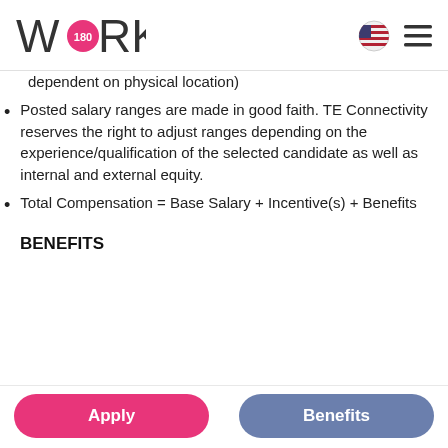WORK180
dependent on physical location)
Posted salary ranges are made in good faith. TE Connectivity reserves the right to adjust ranges depending on the experience/qualification of the selected candidate as well as internal and external equity.
Total Compensation = Base Salary + Incentive(s) + Benefits
BENEFITS
Apply
Benefits